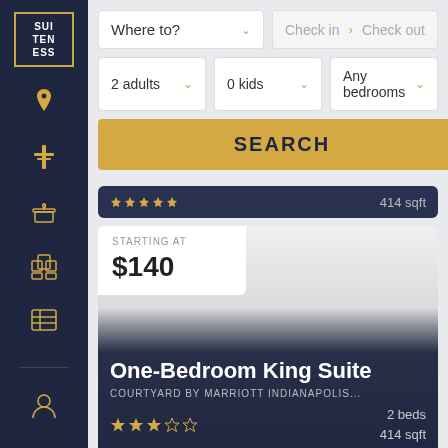[Figure (screenshot): Dark navy sidebar with Suiteness logo and navigation icons]
Where to?
Check in > Check out
2 adults
0 kids
Any bedrooms
SEARCH
414 sqft
STARTING AT
$140
One-Bedroom King Suite
COURTYARD BY MARRIOTT INDIANAPOLIS...
2 beds
414 sqft